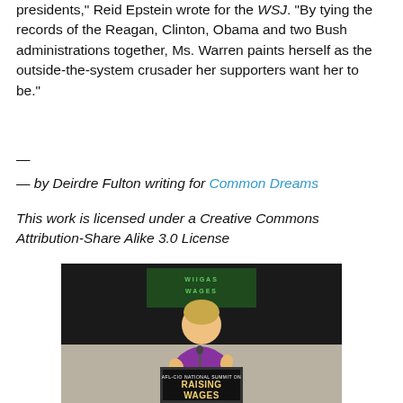presidents," Reid Epstein wrote for the WSJ. "By tying the records of the Reagan, Clinton, Obama and two Bush administrations together, Ms. Warren paints herself as the outside-the-system crusader her supporters want her to be."
—
— by Deirdre Fulton writing for Common Dreams
This work is licensed under a Creative Commons Attribution-Share Alike 3.0 License
[Figure (photo): Photo of a woman in a purple jacket speaking at a podium with an AFL-CIO National Summit on Raising [wages] banner. A green sign is visible in the dark background behind her.]